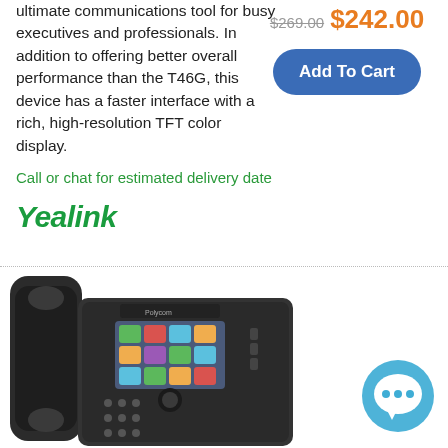ultimate communications tool for busy executives and professionals. In addition to offering better overall performance than the T46G, this device has a faster interface with a rich, high-resolution TFT color display.
$269.00  $242.00
Add To Cart
Call or chat for estimated delivery date
[Figure (logo): Yealink brand logo in green italic bold font]
[Figure (photo): Polycom desk phone (VVX series) showing handset, color display with app icons, keypad and navigation buttons]
[Figure (illustration): Blue chat bubble icon with three dots indicating live chat support]